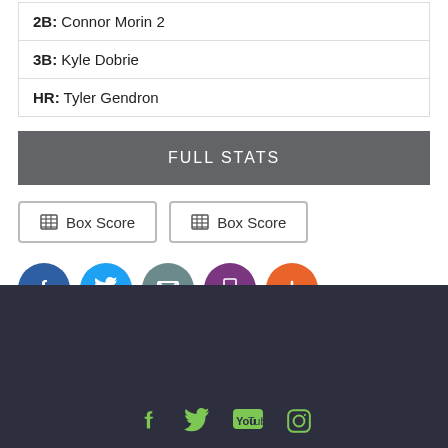2B: Connor Morin 2
3B: Kyle Dobrie
HR: Tyler Gendron
FULL STATS
Box Score
Box Score
[Figure (infographic): Social share buttons: Facebook (blue circle), Twitter (cyan circle), Email (teal circle), Print (purple circle), Add (orange circle)]
Footer with social media icons: Facebook, Twitter, YouTube, Instagram on dark background